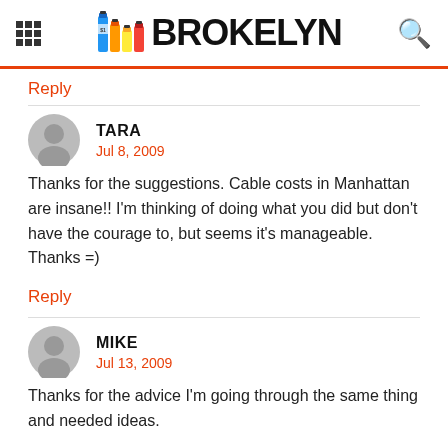BROKELYN
Reply
TARA
Jul 8, 2009
Thanks for the suggestions. Cable costs in Manhattan are insane!! I'm thinking of doing what you did but don't have the courage to, but seems it's manageable. Thanks =)
Reply
MIKE
Jul 13, 2009
Thanks for the advice I'm going through the same thing and needed ideas.